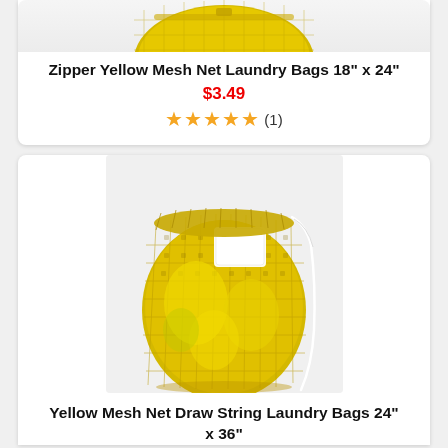[Figure (photo): Partial top view of a yellow mesh zipper laundry bag]
Zipper Yellow Mesh Net Laundry Bags 18" x 24"
$3.49
★★★★★ (1)
[Figure (photo): Yellow mesh net drawstring laundry bag filled with laundry, with a white label patch on front and a white drawstring]
Yellow Mesh Net Draw String Laundry Bags 24" x 36"